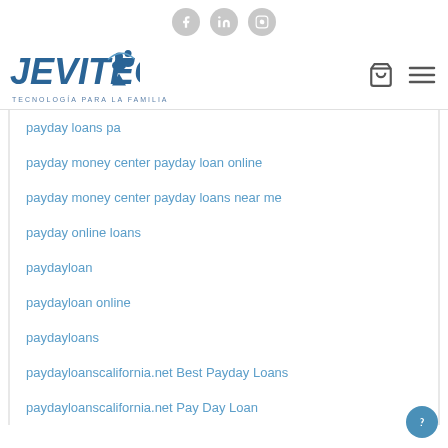[Figure (logo): Social media icons: Facebook, LinkedIn, Instagram in grey circles]
[Figure (logo): JEVITEC logo with tagline TECNOLOGÍA PARA LA FAMILIA, shopping cart and hamburger menu icons]
payday loans pa
payday money center payday loan online
payday money center payday loans near me
payday online loans
paydayloan
paydayloan online
paydayloans
paydayloanscalifornia.net Best Payday Loans
paydayloanscalifornia.net Pay Day Loan